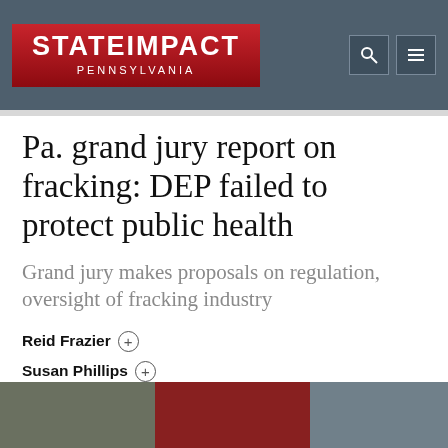StateImpact Pennsylvania
Pa. grand jury report on fracking: DEP failed to protect public health
Grand jury makes proposals on regulation, oversight of fracking industry
Reid Frazier
Susan Phillips
[Figure (photo): Photo strip at the bottom of the page showing people outdoors, partially visible]